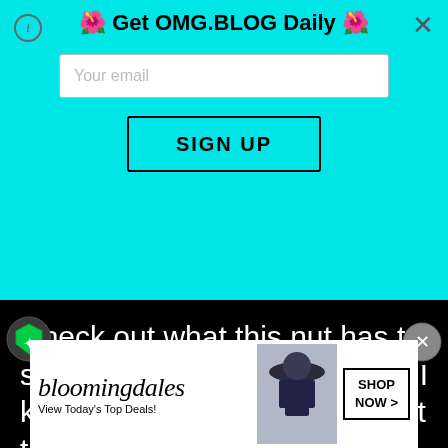🌺 Get OMG.BLOG Daily 🌺
[Figure (screenshot): Email sign-up form with text input labeled 'Your email' and a SIGN UP button on cyan background]
Check out what this nut has to say above! Thoughts, OMG!? I know some of y'all lap up what this kook is sayin! SMDH.
[Figure (screenshot): Bloomingdale's advertisement banner: 'View Today's Top Deals!' with a woman in a hat and SHOP NOW > button]